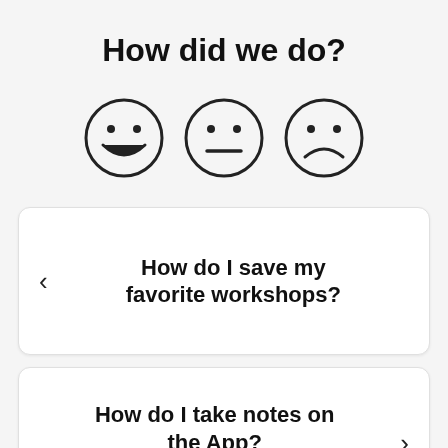How did we do?
[Figure (illustration): Three emoji faces: happy (smiling), neutral (flat mouth), and sad (frowning), shown as circle outlines with simple dot eyes]
How do I save my favorite workshops?
How do I take notes on the App?